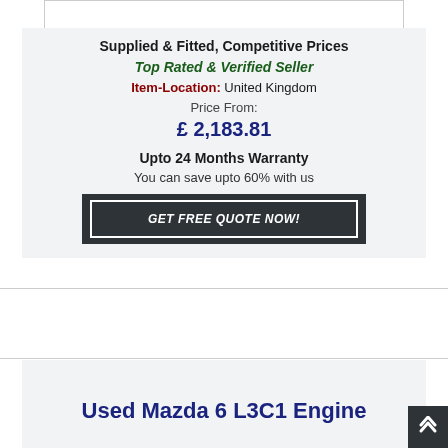[Figure (other): White box/image area at top]
Supplied & Fitted, Competitive Prices
Top Rated & Verified Seller
Item-Location: United Kingdom
Price From:
£ 2,183.81
Upto 24 Months Warranty
You can save upto 60% with us
GET FREE QUOTE NOW!
Used Mazda 6 L3C1 Engine